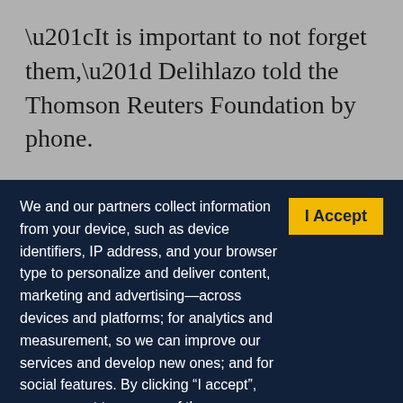“It is important to not forget them,” Delihlazo told the Thomson Reuters Foundation by phone.

South Africa has the highest number of confirmed
We and our partners collect information from your device, such as device identifiers, IP address, and your browser type to personalize and deliver content, marketing and advertising—across devices and platforms; for analytics and measurement, so we can improve our services and develop new ones; and for social features. By clicking “I accept”, you consent to our use of these Cookies. Visit our Privacy Policy to learn more.
I Accept
YOUR USE OF THIS SITE SIGNIFIES YOUR AGREEMENT TO THIS PRIVACY POLICY.